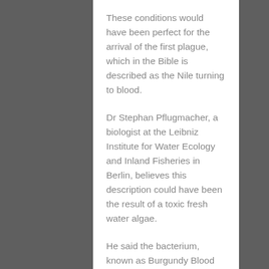These conditions would have been perfect for the arrival of the first plague, which in the Bible is described as the Nile turning to blood.
Dr Stephan Pflugmacher, a biologist at the Leibniz Institute for Water Ecology and Inland Fisheries in Berlin, believes this description could have been the result of a toxic fresh water algae.
He said the bacterium, known as Burgundy Blood algae or Oscillatoria rubescens, is known to have existed 3,000 years ago and still causes similar effects today.